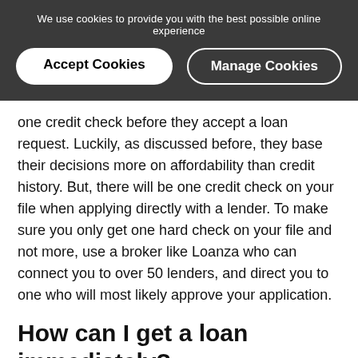We use cookies to provide you with the best possible online experience
[Figure (screenshot): Cookie consent banner with two buttons: 'Accept Cookies' (white filled, rounded) and 'Manage Cookies' (outlined, rounded) on a dark grey background]
one credit check before they accept a loan request. Luckily, as discussed before, they base their decisions more on affordability than credit history. But, there will be one credit check on your file when applying directly with a lender. To make sure you only get one hard check on your file and not more, use a broker like Loanza who can connect you to over 50 lenders, and direct you to one who will most likely approve your application.
How can I get a loan immediately?
If you apply online now with Loanza, you can get funds deposited in your account in 15 minutes if approved. We work with very high acceptance payday loans direct lenders UK.